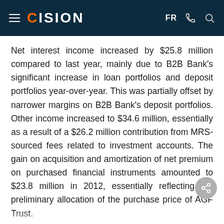CISION
Net interest income increased by $25.8 million compared to last year, mainly due to B2B Bank's significant increase in loan portfolios and deposit portfolios year-over-year. This was partially offset by narrower margins on B2B Bank's deposit portfolios. Other income increased to $34.6 million, essentially as a result of a $26.2 million contribution from MRS-sourced fees related to investment accounts. The gain on acquisition and amortization of net premium on purchased financial instruments amounted to $23.8 million in 2012, essentially reflecting the preliminary allocation of the purchase price of AGF Trust.